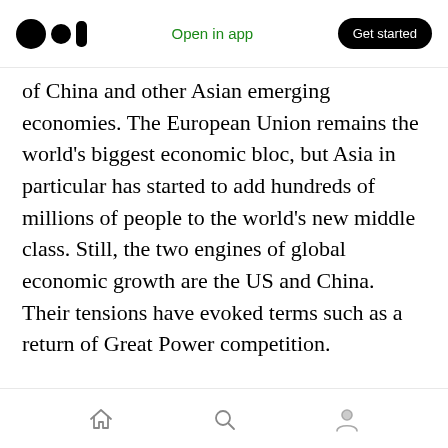Medium logo | Open in app | Get started
of China and other Asian emerging economies. The European Union remains the world's biggest economic bloc, but Asia in particular has started to add hundreds of millions of people to the world's new middle class. Still, the two engines of global economic growth are the US and China. Their tensions have evoked terms such as a return of Great Power competition.
So, the conduct of economic diplomacy, i.e., how a country manages its foreign economic relations including trade and investment, must adapt.
Home | Search | Profile